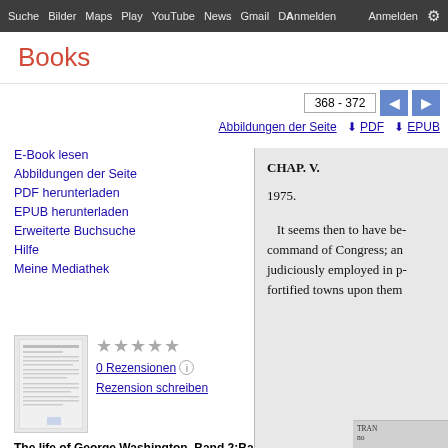Suche Bilder Maps Play YouTube News Gmail Mehr Anmelden
Books
368 - 372
Abbildungen der Seite  PDF  EPUB
E-Book lesen
Abbildungen der Seite
PDF herunterladen
EPUB herunterladen
Erweiterte Buchsuche
Hilfe
Meine Mediathek
0 Rezensionen
Rezension schreiben
The life of George Washington, Band 2;Band 272
[Figure (illustration): Book thumbnail/cover preview of 'The life of George Washington']
CHAP. V.

1975.

It seems then to have be- command of Congress; an judiciously employed in p- fortified towns upon them